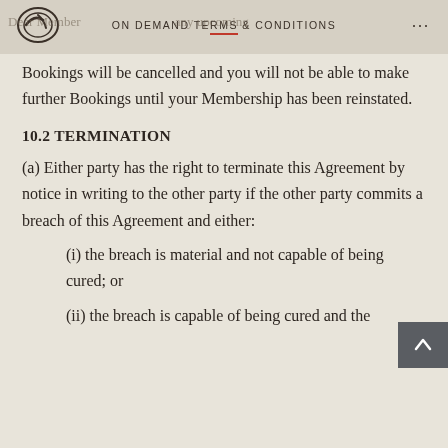ON DEMAND TERMS & CONDITIONS
Bookings will be cancelled and you will not be able to make further Bookings until your Membership has been reinstated.
10.2 TERMINATION
(a) Either party has the right to terminate this Agreement by notice in writing to the other party if the other party commits a breach of this Agreement and either:
(i) the breach is material and not capable of being cured; or
(ii) the breach is capable of being cured and the